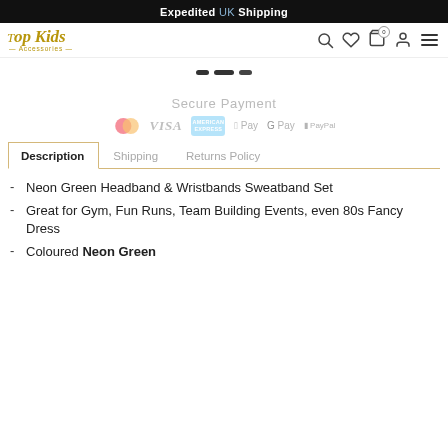Expedited UK Shipping
[Figure (logo): Top Kids Accessories logo in gold script font with small bow icon]
Secure Payment
[Figure (infographic): Payment method icons: Mastercard, VISA, American Express, Apple Pay, G Pay, PayPal]
Description | Shipping | Returns Policy
Neon Green Headband & Wristbands Sweatband Set
Great for Gym, Fun Runs, Team Building Events, even 80s Fancy Dress
Coloured Neon Green